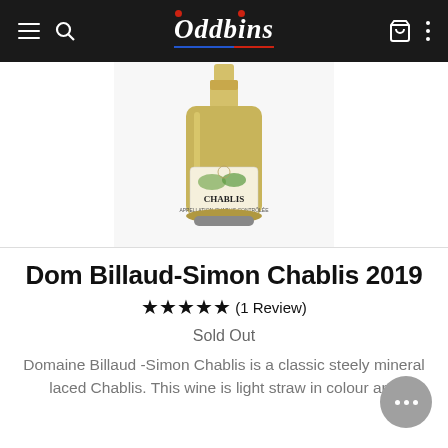Oddbins navigation bar
[Figure (photo): A bottle of Dom Billaud-Simon Chablis 2019 white wine against a white background]
Dom Billaud-Simon Chablis 2019
★★★★★ (1 Review)
Sold Out
Domaine Billaud -Simon Chablis is a classic steely mineral laced Chablis. This wine is light straw in colour and